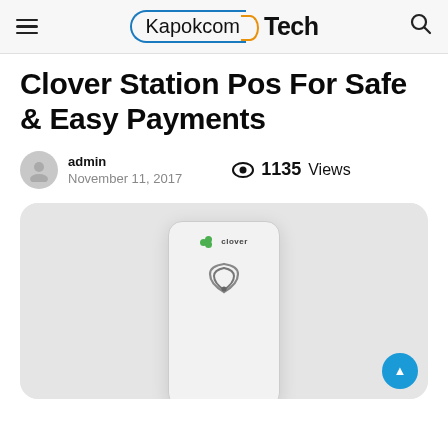Kapokcom Tech
Clover Station Pos For Safe & Easy Payments
admin · November 11, 2017 · 1135 Views
[Figure (photo): Clover Station POS device, white handheld card reader with Clover logo and NFC symbol, on a light grey rounded background]